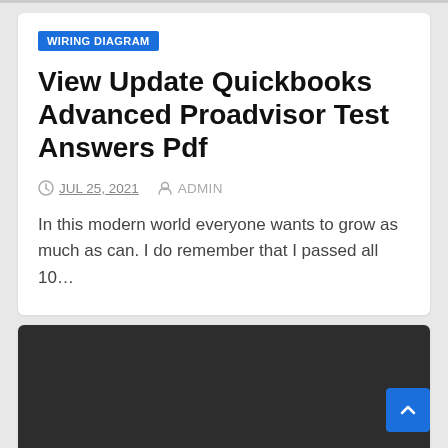WIRING DIAGRAM
View Update Quickbooks Advanced Proadvisor Test Answers Pdf
JUL 25, 2021   ADMIN
In this modern world everyone wants to grow as much as can. I do remember that I passed all 10…
[Figure (screenshot): Dark background image block at the bottom of the page]